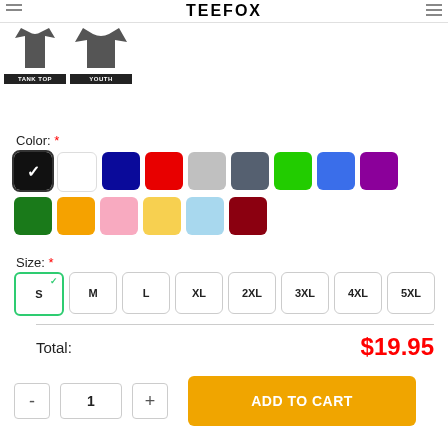TEEFOX
[Figure (illustration): Two t-shirt product icons: Tank Top and Youth, shown as dark garment silhouettes with black labels below each]
Color: *
[Figure (infographic): Color swatch selector with 15 color options: black (selected with checkmark), white, navy, red, light gray, dark gray, lime green, blue, purple, dark green, orange, pink, yellow, light blue, dark red]
Size: *
[Figure (infographic): Size selector with options S (selected with green border and checkmark), M, L, XL, 2XL, 3XL, 4XL, 5XL]
Total: $19.95
- 1 + ADD TO CART